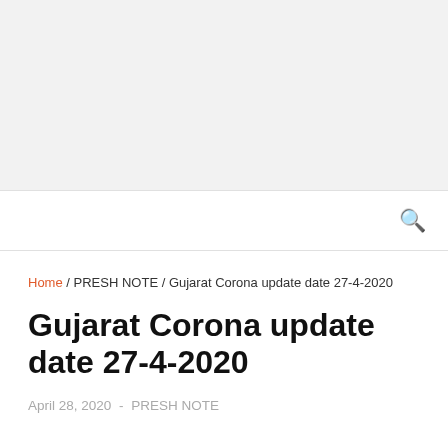🔍
Home / PRESH NOTE / Gujarat Corona update date 27-4-2020
Gujarat Corona update date 27-4-2020
April 28, 2020  -  PRESH NOTE